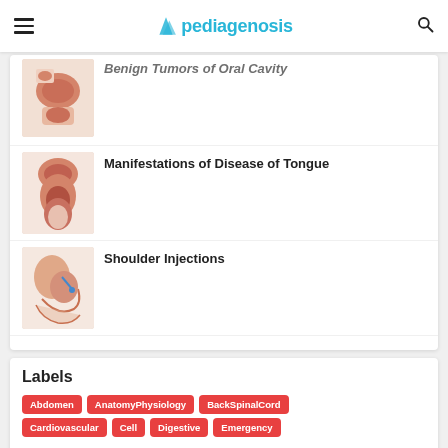pediagenosis
Benign Tumors of Oral Cavity
[Figure (illustration): Medical illustration of oral cavity benign tumors]
Manifestations of Disease of Tongue
[Figure (illustration): Medical illustration of tongue disease manifestations]
Shoulder Injections
[Figure (illustration): Medical illustration of shoulder injections]
Labels
Abdomen
AnatomyPhysiology
BackSpinalCord
Cardiovascular
Cell
Digestive
Emergency